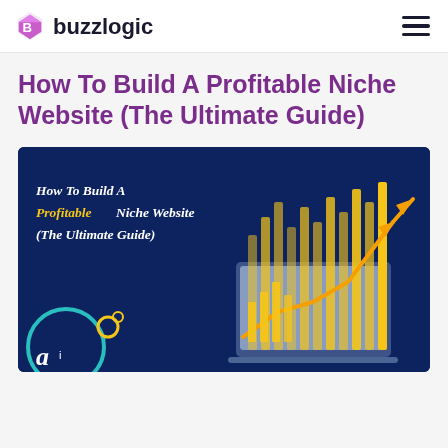buzzlogic
How To Build A Profitable Niche Website (The Ultimate Guide)
[Figure (illustration): Hero banner image with dark blue background showing the title 'How To Build A Profitable Niche Website (The Ultimate Guide)' in white and gold italic text on the left, decorative teal circle and letter 'a' in the bottom left, and a stylized bar chart/growth arrow graphic in gold on the right side depicting laptop with rising bars and upward trending arrow.]